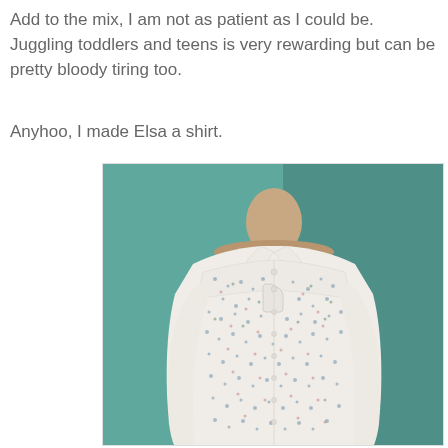Add to the mix, I am not as patient as I could be. Juggling toddlers and teens is very rewarding but can be pretty bloody tiring too.
Anyhoo, I made Elsa a shirt.
[Figure (photo): A floral-patterned long-sleeve button-up shirt displayed on a dressmaker's mannequin against a teal/green background. The shirt is white with small colorful scattered dots/floral print, has a collar, chest pocket, and long sleeves.]